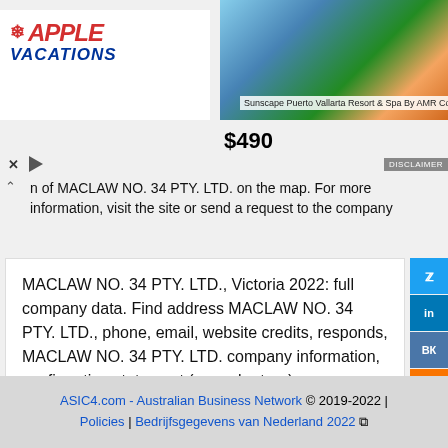[Figure (screenshot): Apple Vacations advertisement banner with image of Sunscape Puerto Vallarta Resort & Spa By AMR Collection, price $490]
on of MACLAW NO. 34 PTY. LTD. on the map. For more information, visit the site or send a request to the company
MACLAW NO. 34 PTY. LTD., Victoria 2022: full company data. Find address MACLAW NO. 34 PTY. LTD., phone, email, website credits, responds, MACLAW NO. 34 PTY. LTD. company information, confirmation statement (annual return), company accounts, finance, vacancies and job, contacts finance sectors MACLAW NO. 34 PTY. LTD.
ASIC4.com - Australian Business Network © 2019-2022 | Policies | Bedrijfsgegevens van Nederland 2022